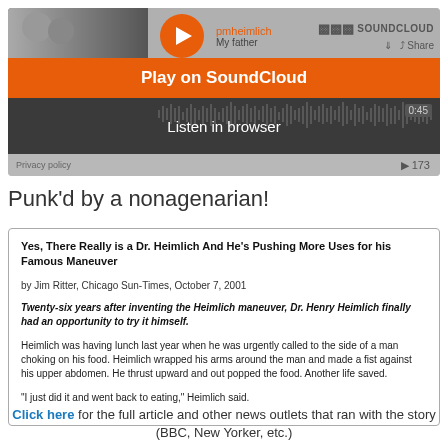[Figure (screenshot): SoundCloud embedded audio player widget showing 'Play on SoundCloud' orange button and 'Listen in browser' option with waveform display. User pmheimlich, track 'My father'. Play count 173. Duration 0:45.]
Punk'd by a nonagenarian!
Yes, There Really is a Dr. Heimlich And He's Pushing More Uses for his Famous Maneuver

by Jim Ritter, Chicago Sun-Times, October 7, 2001

Twenty-six years after inventing the Heimlich maneuver, Dr. Henry Heimlich finally had an opportunity to try it himself.

Heimlich was having lunch last year when he was urgently called to the side of a man choking on his food. Heimlich wrapped his arms around the man and made a fist against his upper abdomen. He thrust upward and out popped the food. Another life saved.

"I just did it and went back to eating," Heimlich said.
Click here for the full article and other news outlets that ran with the story (BBC, New Yorker, etc.)